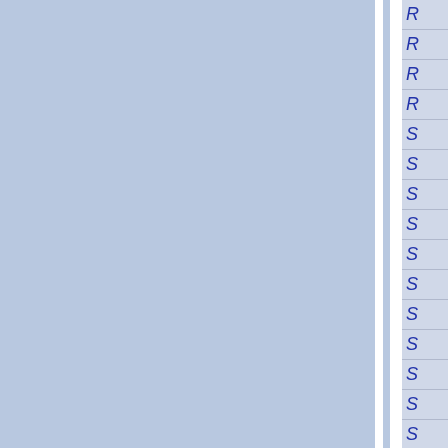[Figure (other): Page showing a blue background with two blue columns separated by a white vertical divider, and a right-side navigation/index panel with blue italic letters (R, R, R, R, S, S, S, S, S, S, S, S, S, S, S, S) in rows separated by horizontal lines on a light blue-grey background.]